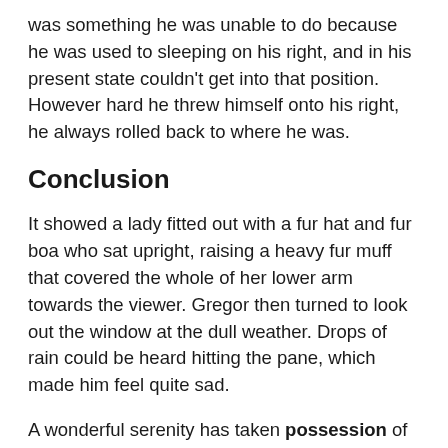was something he was unable to do because he was used to sleeping on his right, and in his present state couldn't get into that position. However hard he threw himself onto his right, he always rolled back to where he was.
Conclusion
It showed a lady fitted out with a fur hat and fur boa who sat upright, raising a heavy fur muff that covered the whole of her lower arm towards the viewer. Gregor then turned to look out the window at the dull weather. Drops of rain could be heard hitting the pane, which made him feel quite sad.
A wonderful serenity has taken possession of my entire soul, like these sweet mornings of spring which I enjoy with my whole heart. Even the all-powerful Pointing has no control about the blind texts it is an almost unorthographic life One day however a small line of blind text by the name